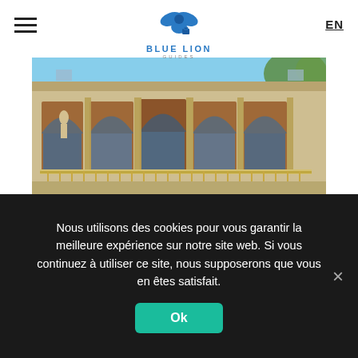BLUE LION GUIDES — EN
[Figure (photo): Exterior photo of a grand Parisian theater building featuring ornate Baroque architecture with tall arched windows, red columns, decorative stonework, statues, and a balcony facade.]
The theater in Paris between power and counter-power
BY MARTIAL SOURCIER
Nous utilisons des cookies pour vous garantir la meilleure expérience sur notre site web. Si vous continuez à utiliser ce site, nous supposerons que vous en êtes satisfait.
Ok